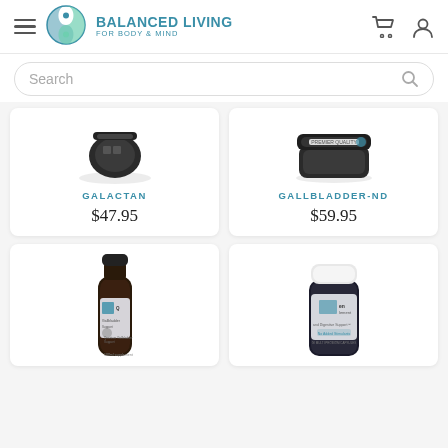[Figure (logo): Balanced Living For Body & Mind logo with teal circular yin-yang style icon]
BALANCED LIVING FOR BODY & MIND
Search
[Figure (photo): Product photo of Galactan supplement in dark container, top view]
GALACTAN
$47.95
[Figure (photo): Product photo of Gallbladder-ND supplement in dark jar]
GALLBLADDER-ND
$59.95
[Figure (photo): Product photo of liquid supplement bottle with Quantum Gallbladder label]
[Figure (photo): Product photo of dark capsule bottle with GI supplement label]